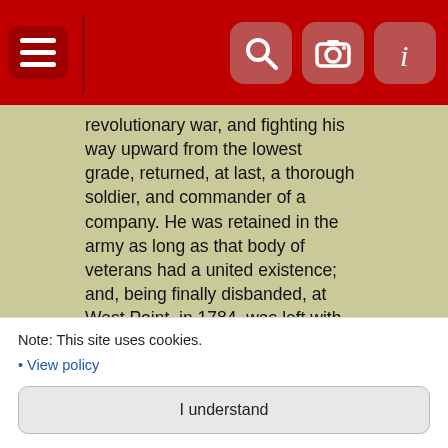[Figure (screenshot): Mobile app navigation bar with hamburger menu icon on the left (white lines on dark red background), a vertical divider, and three icon buttons on the right: magnifying glass (search), camera, and italic 'i' (info), all on a crimson/red background.]
revolutionary war, and fighting his way upward from the lowest grade, returned, at last, a thorough soldier, and commander of a company. He was retained in the army as long as that body of veterans had a united existence; and, being finally disbanded, at West Point, in 1784, was left with no other reward, for nine years of toil and danger, than the nominal amount of his pay in the Continental currency--then so depreciated as to be almost worthless.
"In 1785, being employed as agent to explore a tract of wild land, be purchased a lot of fifty acres in what is now the town of Hillsborough. In the spring of the succeeding year, he built himself a log hut, and began the clearing and cultivation of his tract. Another year beheld him married to his first wife, Elizabeth Andrews, who died within a twelvemonth after their union
Note: This site uses cookies.
• View policy
I understand